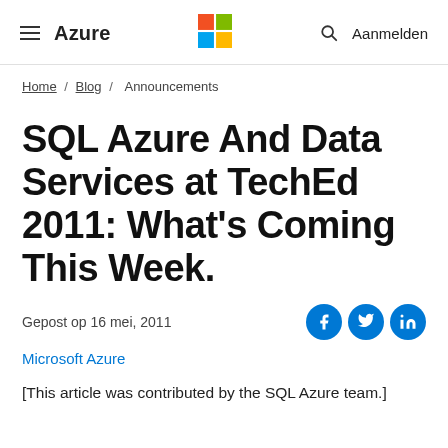≡ Azure  [Microsoft Logo]  🔍 Aanmelden
Home / Blog / Announcements
SQL Azure And Data Services at TechEd 2011: What's Coming This Week.
Gepost op 16 mei, 2011
Microsoft Azure
[This article was contributed by the SQL Azure team.]